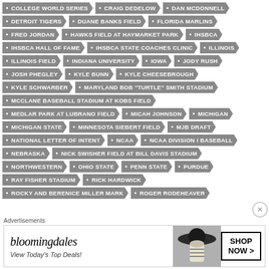COLLEGE WORLD SERIES
CRAIG DEDELOW
DAN MCDONNELL
DETROIT TIGERS
DUANE BANKS FIELD
FLORIDA MARLINS
FRED JORDAN
HAWKS FIELD AT HAYMARKET PARK
IHSBCA
IHSBCA HALL OF FAME
IHSBCA STATE COACHES CLINIC
ILLINOIS
ILLINOIS FIELD
INDIANA UNIVERSITY
IOWA
JODY RUSH
JOSH PHEGLEY
KYLE BUNN
KYLE CHEESEBROUGH
KYLE SCHWARBER
MARYLAND BOB "TURTLE" SMITH STADIUM
MCCLANE BASEBALL STADIUM AT KOBS FIELD
MEDLAR PARK AT LUBRANO FIELD
MICAH JOHNSON
MICHIGAN
MICHIGAN STATE
MINNESOTA SIEBERT FIELD
MJB DRAFT
NATIONAL LETTER OF INTENT
NCAA
NCAA DIVISION I BASEBALL
NEBRASKA
NICK SWISHER FIELD AT BILL DAVIS STADIUM
NORTHWESTERN
OHIO STATE
PENN STATE
PURDUE
RAY FISHER STADIUM
RICK HARDWICK
ROCKY AND BERENICE MILLER MARK
ROGER RODEHEAVER
Advertisements
[Figure (illustration): Bloomingdale's advertisement with hat model, 'View Today's Top Deals!' text and 'SHOP NOW >' button]